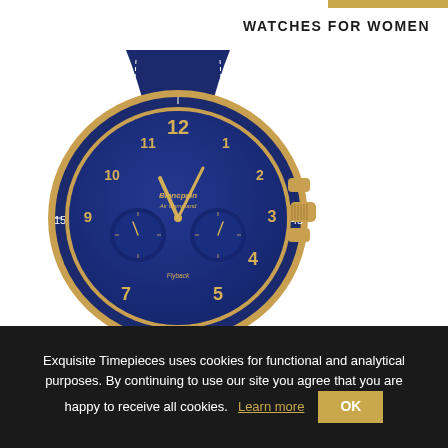WATCHES FOR WOMEN
[Figure (photo): A Blancpain Air Command chronograph watch with a blue dial, gold-tone case, and navy blue leather strap with white stitching. The watch features gold Arabic numerals, two sub-dials, a rotating bezel with minute markings, and crown and pushers on the right side.]
Exquisite Timepieces uses cookies for functional and analytical purposes. By continuing to use our site you agree that you are happy to receive all cookies. Learn more  OK